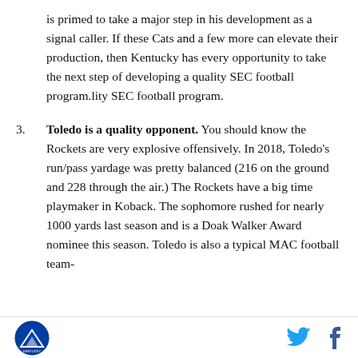is primed to take a major step in his development as a signal caller. If these Cats and a few more can elevate their production, then Kentucky has every opportunity to take the next step of developing a quality SEC football program.lity SEC football program.
3. Toledo is a quality opponent. You should know the Rockets are very explosive offensively. In 2018, Toledo's run/pass yardage was pretty balanced (216 on the ground and 228 through the air.) The Rockets have a big time playmaker in Koback. The sophomore rushed for nearly 1000 yards last season and is a Doak Walker Award nominee this season. Toledo is also a typical MAC football team-
[logo] [twitter] [facebook]